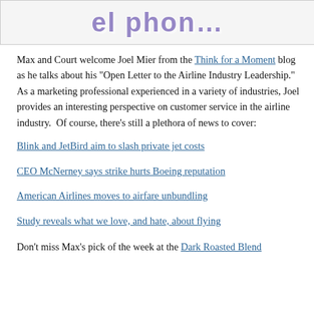[Figure (illustration): Partial banner/logo image at top of page, showing stylized colorful text partially visible — appears to be a podcast or blog logo with decorative font]
Max and Court welcome Joel Mier from the Think for a Moment blog as he talks about his "Open Letter to the Airline Industry Leadership."  As a marketing professional experienced in a variety of industries, Joel provides an interesting perspective on customer service in the airline industry.  Of course, there's still a plethora of news to cover:
Blink and JetBird aim to slash private jet costs
CEO McNerney says strike hurts Boeing reputation
American Airlines moves to airfare unbundling
Study reveals what we love, and hate, about flying
Don't miss Max's pick of the week at the Dark Roasted Blend